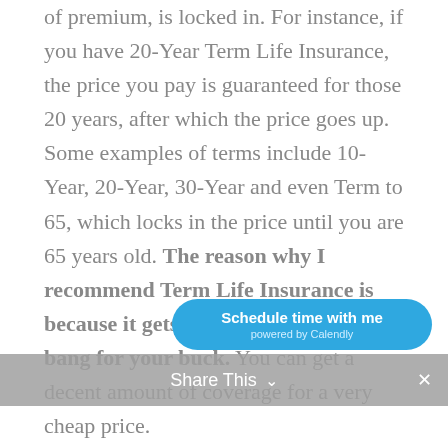of premium, is locked in. For instance, if you have 20-Year Term Life Insurance, the price you pay is guaranteed for those 20 years, after which the price goes up. Some examples of terms include 10-Year, 20-Year, 30-Year and even Term to 65, which locks in the price until you are 65 years old. The reason why I recommend Term Life Insurance is because it gets you the absolute most bang for your buck. You can get a decent amount of coverage for a very cheap price.